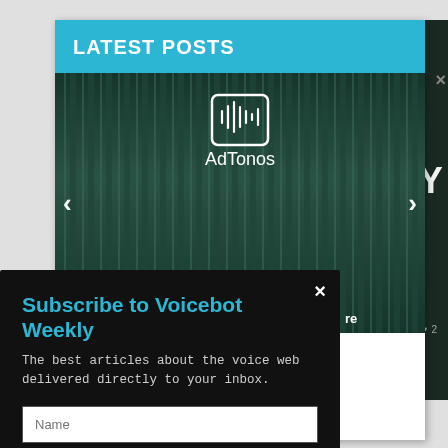LATEST POSTS
[Figure (screenshot): Slider image showing AdTonos logo and brand name on a dark green curtain background, with left/right navigation arrows and a 'Powered by SUMO' badge overlay]
Subscribe to Voicebot Weekly
The best articles about the voice web delivered directly to your inbox.
Name
Email
SUBSCRIBE